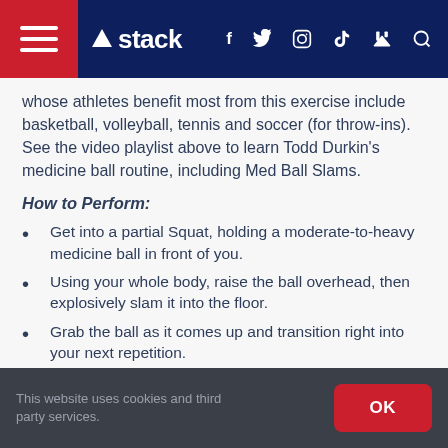stack
whose athletes benefit most from this exercise include basketball, volleyball, tennis and soccer (for throw-ins). See the video playlist above to learn Todd Durkin's medicine ball routine, including Med Ball Slams.
How to Perform:
Get into a partial Squat, holding a moderate-to-heavy medicine ball in front of you.
Using your whole body, raise the ball overhead, then explosively slam it into the floor.
Grab the ball as it comes up and transition right into your next repetition.
Perform 3×12
This website uses cookies and third party services.